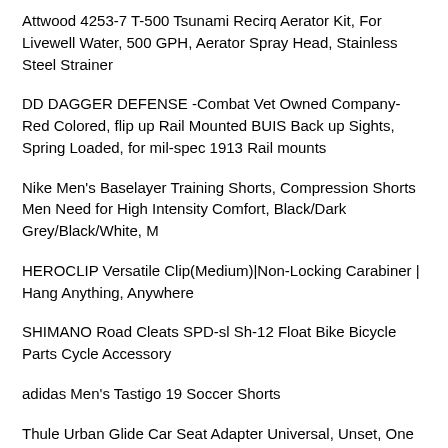Attwood 4253-7 T-500 Tsunami Recirq Aerator Kit, For Livewell Water, 500 GPH, Aerator Spray Head, Stainless Steel Strainer
DD DAGGER DEFENSE -Combat Vet Owned Company- Red Colored, flip up Rail Mounted BUIS Back up Sights, Spring Loaded, for mil-spec 1913 Rail mounts
Nike Men's Baselayer Training Shorts, Compression Shorts Men Need for High Intensity Comfort, Black/Dark Grey/Black/White, M
HEROCLIP Versatile Clip(Medium)|Non-Locking Carabiner | Hang Anything, Anywhere
SHIMANO Road Cleats SPD-sl Sh-12 Float Bike Bicycle Parts Cycle Accessory
adidas Men's Tastigo 19 Soccer Shorts
Thule Urban Glide Car Seat Adapter Universal, Unset, One Size
Wald 135 Front Grocery Bicycle Basket (14.5 x 9.5 x 9, Silver)